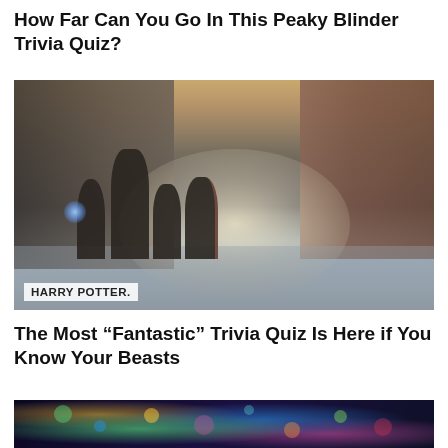How Far Can You Go In This Peaky Blinder Trivia Quiz?
[Figure (photo): Movie still from Fantastic Beasts showing four characters walking on a misty city street. A label overlay reads 'HARRY POTTER.']
HARRY POTTER.
The Most “Fantastic” Trivia Quiz Is Here if You Know Your Beasts
[Figure (photo): Partial image with colorful bokeh lights in teal, green, pink, and gold against a dark background.]